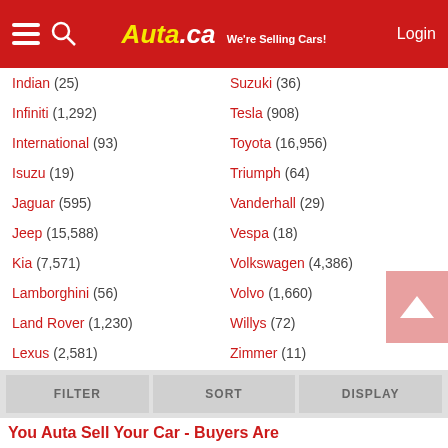Auta.ca — We're Selling Cars! | Login
Indian (25)
Suzuki (36)
Infiniti (1,292)
Tesla (908)
International (93)
Toyota (16,956)
Isuzu (19)
Triumph (64)
Jaguar (595)
Vanderhall (29)
Jeep (15,588)
Vespa (18)
Kia (7,571)
Volkswagen (4,386)
Lamborghini (56)
Volvo (1,660)
Land Rover (1,230)
Willys (72)
Lexus (2,581)
Zimmer (11)
FILTER | SORT | DISPLAY | You Auta Sell Your Car - Buyers Are